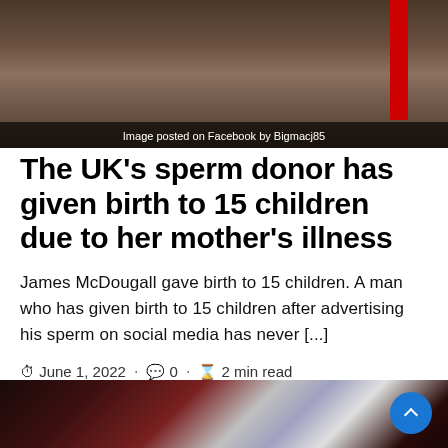[Figure (photo): Photo of a person wearing a dark shirt, partially visible. A red stripe visible on right side. Dark background.]
Image posted on Facebook by Bigmacj85
The UK's sperm donor has given birth to 15 children due to her mother's illness
James McDougall gave birth to 15 children. A man who has given birth to 15 children after advertising his sperm on social media has never [...]
June 1, 2022 · 0 · 2 min read
[Figure (photo): Partial bottom image showing a cosmic or galaxy-like scene with red and white light patterns against dark background.]